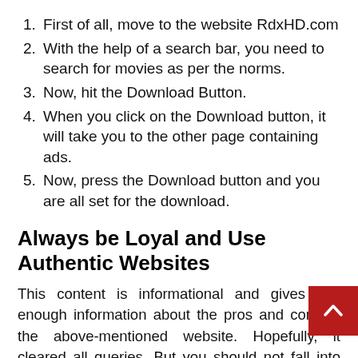First of all, move to the website RdxHD.com
With the help of a search bar, you need to search for movies as per the norms.
Now, hit the Download Button.
When you click on the Download button, it will take you to the other page containing ads.
Now, press the Download button and you are all set for the download.
Always be Loyal and Use Authentic Websites
This content is informational and gives you enough information about the pros and cons of the above-mentioned website. Hopefully, it cleared all queries. But you should not fall into such act download from these websites directly. Use a VPN